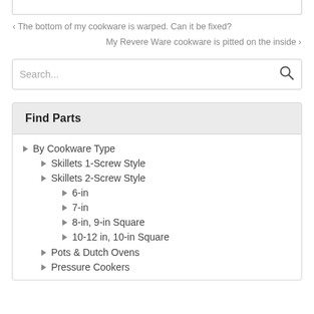< The bottom of my cookware is warped. Can it be fixed?
My Revere Ware cookware is pitted on the inside >
Search...
Find Parts
By Cookware Type
Skillets 1-Screw Style
Skillets 2-Screw Style
6-in
7-in
8-in, 9-in Square
10-12 in, 10-in Square
Pots & Dutch Ovens
Pressure Cookers